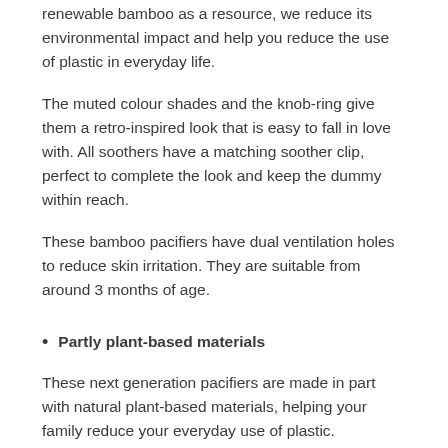renewable bamboo as a resource, we reduce its environmental impact and help you reduce the use of plastic in everyday life.
The muted colour shades and the knob-ring give them a retro-inspired look that is easy to fall in love with. All soothers have a matching soother clip, perfect to complete the look and keep the dummy within reach.
These bamboo pacifiers have dual ventilation holes to reduce skin irritation. They are suitable from around 3 months of age.
Partly plant-based materials
These next generation pacifiers are made in part with natural plant-based materials, helping your family reduce your everyday use of plastic.
Suction part in natural rubber Latex